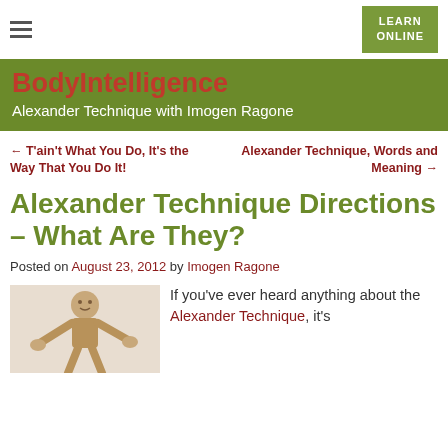BodyIntelligence – Alexander Technique with Imogen Ragone
← T'ain't What You Do, It's the Way That You Do It!
Alexander Technique, Words and Meaning →
Alexander Technique Directions – What Are They?
Posted on August 23, 2012 by Imogen Ragone
[Figure (photo): Wooden articulated figure/mannequin hands posed together]
If you've ever heard anything about the Alexander Technique, it's